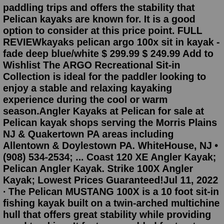paddling trips and offers the stability that Pelican kayaks are known for. It is a good option to consider at this price point. FULL REVIEWkayaks pelican argo 100x sit in kayak - fade deep blue/white $ 299.99 $ 249.99 Add to Wishlist The ARGO Recreational Sit-in Collection is ideal for the paddler looking to enjoy a stable and relaxing kayaking experience during the cool or warm season.Angler Kayaks at Pelican for sale at Pelican kayak shops serving the Morris Plains NJ & Quakertown PA areas including Allentown & Doylestown PA. WhiteHouse, NJ • (908) 534-2534; ... Coast 120 XE Angler Kayak; Pelican Angler Kayak. Strike 100X Angler Kayak; Lowest Prices Guaranteed!Jul 11, 2022 · The Pelican MUSTANG 100X is a 10 foot sit-in fishing kayak built on a twin-arched multichine hull that offers great stability while providing good tracking. It features molded footrests, knee pads, a cockpit smartphone holder, the ERGOFORM™ seating system, two flush mounts rod holder, a front deck storage hatch with bungee cord, a tank well ... kayaks pelican argo 100x sit in kayak -